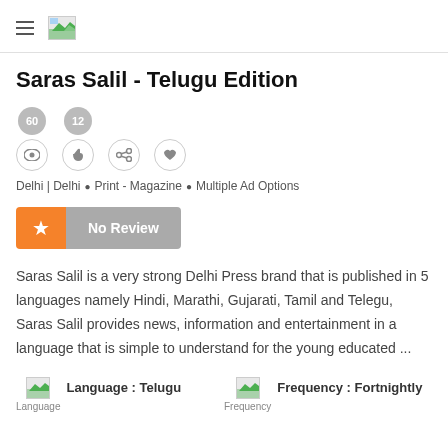≡ [logo image]
Saras Salil - Telugu Edition
[Figure (infographic): Social stats icons: 60 views, 12 likes, share, and heart/favourite icons]
Delhi | Delhi • Print - Magazine • Multiple Ad Options
[Figure (infographic): Orange star rating button with grey 'No Review' label]
Saras Salil is a very strong Delhi Press brand that is published in 5 languages namely Hindi, Marathi, Gujarati, Tamil and Telegu, Saras Salil provides news, information and entertainment in a language that is simple to understand for the young educated ...
Language : Telugu
Frequency : Fortnightly